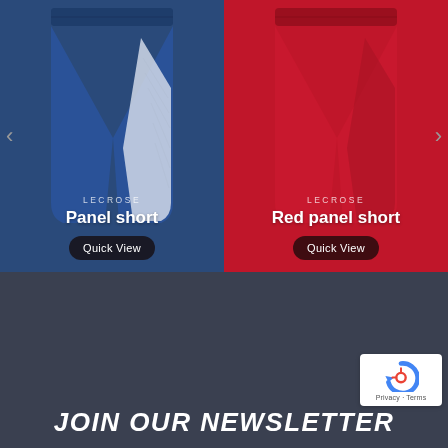[Figure (photo): Navy blue athletic panel shorts with white side panel, overlaid with brand name LECROSE, product name 'Panel short', and a 'Quick View' button. Left navigation arrow visible on left edge.]
[Figure (photo): Red athletic panel shorts, overlaid with brand name LECROSE, product name 'Red panel short', and a 'Quick View' button. Right navigation arrow visible on right edge.]
JOIN OUR NEWSLETTER